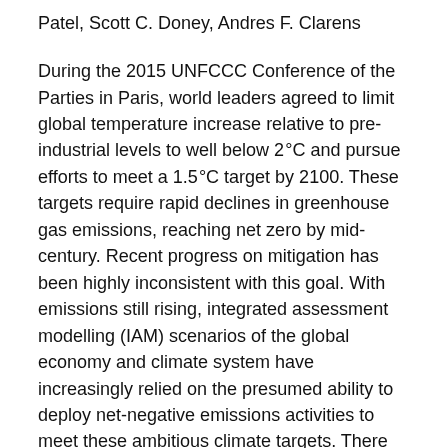Patel, Scott C. Doney, Andres F. Clarens
During the 2015 UNFCCC Conference of the Parties in Paris, world leaders agreed to limit global temperature increase relative to pre-industrial levels to well below 2°C and pursue efforts to meet a 1.5°C target by 2100. These targets require rapid declines in greenhouse gas emissions, reaching net zero by mid-century. Recent progress on mitigation has been highly inconsistent with this goal. With emissions still rising, integrated assessment modelling (IAM) scenarios of the global economy and climate system have increasingly relied on the presumed ability to deploy net-negative emissions activities to meet these ambitious climate targets. There are a number of ways by which to remove already emitted CO2 from the atmosphere. Yet the vast majority of IAM scenarios include just two land-based negative emissions technologies (NETs): bioenergy with carbon capture and storage (BECCS) and afforestation. The degree to which these NETs would compete for productive agricultural and natural land, as well as their impact on water